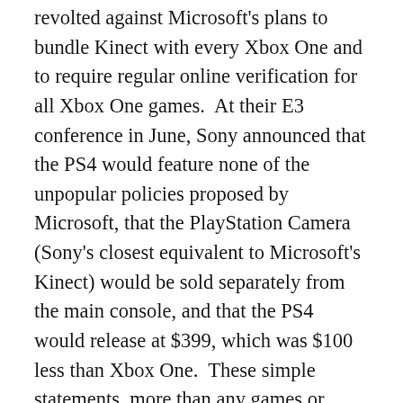revolted against Microsoft's plans to bundle Kinect with every Xbox One and to require regular online verification for all Xbox One games.  At their E3 conference in June, Sony announced that the PS4 would feature none of the unpopular policies proposed by Microsoft, that the PlayStation Camera (Sony's closest equivalent to Microsoft's Kinect) would be sold separately from the main console, and that the PS4 would release at $399, which was $100 less than Xbox One.  These simple statements, more than any games or other features announced for the new platform, won Sony a lot of early support and has played a large part in helping the PS4 gain an early lead in sales over the Xbox One at launch and throughout 2014.